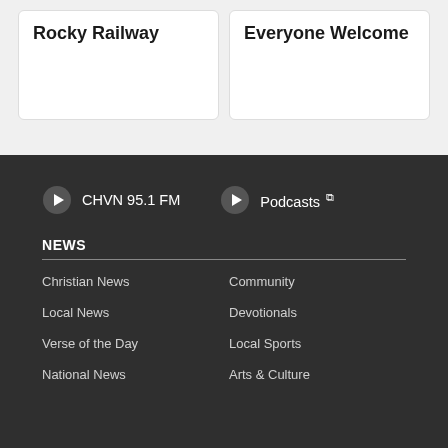Rocky Railway
Everyone Welcome
CHVN 95.1 FM
Podcasts
NEWS
Christian News
Community
Local News
Devotionals
Verse of the Day
Local Sports
National News
Arts & Culture